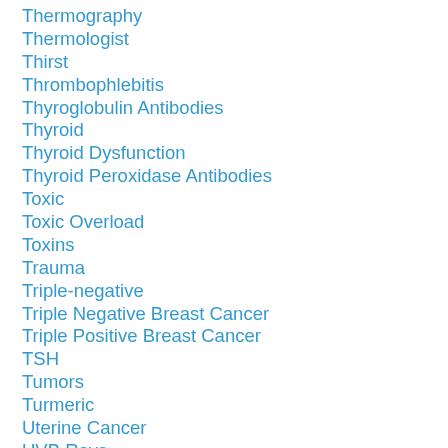Thermography
Thermologist
Thirst
Thrombophlebitis
Thyroglobulin Antibodies
Thyroid
Thyroid Dysfunction
Thyroid Peroxidase Antibodies
Toxic
Toxic Overload
Toxins
Trauma
Triple-negative
Triple Negative Breast Cancer
Triple Positive Breast Cancer
TSH
Tumors
Turmeric
Uterine Cancer
UVB Rays
Vaccines